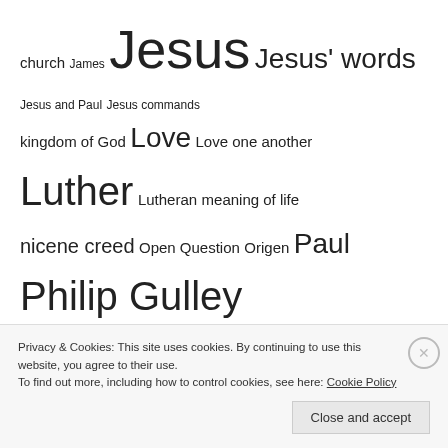[Figure (other): Tag cloud with words of varying sizes: church, James, Jesus, Jesus' words, Jesus and Paul, Jesus commands, kingdom of God, Love, Love one another, Luther, Lutheran, meaning of life, nicene creed, Open Question, Origen, Paul, Philip Gulley, Phyllis Tickle, Politics, Poor, poverty, Prayer, Principles, Progressive Christianity, Quaker, Quakers, Rachel Held Evans, red letter christians, Red Letters, Reformation, Religion, responsibilities, revisit, Roman empire, salvation, theologians, Theology, universal salvation, war, White Evangelicals, works]
Archives
April 2021 (4)
Privacy & Cookies: This site uses cookies. By continuing to use this website, you agree to their use.
To find out more, including how to control cookies, see here: Cookie Policy